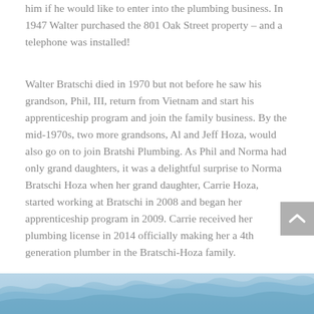him if he would like to enter into the plumbing business. In 1947 Walter purchased the 801 Oak Street property – and a telephone was installed!
Walter Bratschi died in 1970 but not before he saw his grandson, Phil, III, return from Vietnam and start his apprenticeship program and join the family business. By the mid-1970s, two more grandsons, Al and Jeff Hoza, would also go on to join Bratshi Plumbing. As Phil and Norma had only grand daughters, it was a delightful surprise to Norma Bratschi Hoza when her grand daughter, Carrie Hoza, started working at Bratschi in 2008 and began her apprenticeship program in 2009. Carrie received her plumbing license in 2014 officially making her a 4th generation plumber in the Bratschi-Hoza family.
[Figure (photo): A decorative wavy blue image strip visible at the bottom of the page, likely a photo or banner image.]